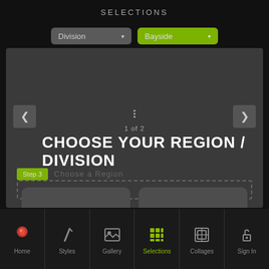SELECTIONS
Division ▾
Bayside ▾
1 of 2
CHOOSE YOUR REGION / DIVISION
Step 3
CHOOSE A WOOD SPECIES AND CABINET DOOR STYLE TO VIEW FINISHES
Delaware Beaches
Richmond, Virginia
Home  Styles  Gallery  Selections  Collages  Sign In